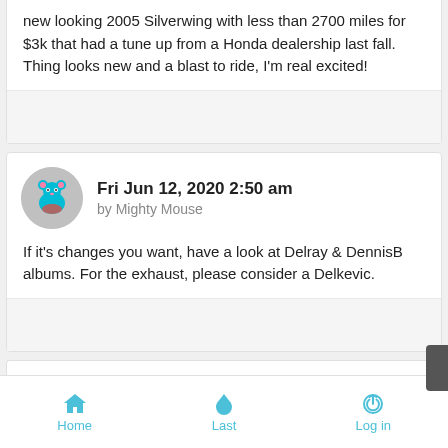new looking 2005 Silverwing with less than 2700 miles for $3k that had a tune up from a Honda dealership last fall. Thing looks new and a blast to ride, I'm real excited!
Fri Jun 12, 2020 2:50 am
by Mighty Mouse
If it's changes you want, have a look at Delray & DennisB albums. For the exhaust, please consider a Delkevic.
Fri Jun 12, 2020 6:21 am
by Donie
Home   Last   Log in